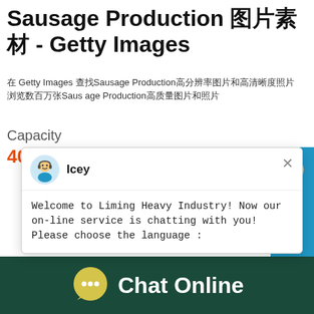Sausage Production 图片素材 - Getty Images
在 Getty Images 查找Sausage Production高分辨率图片和高清晰度照片 浏览数百万张Sausage Production高质量图片和照片
Capacity
403T/H
[Figure (screenshot): Chat popup overlay from Liming Heavy Industry website showing agent named 'Icey' with message: 'Welcome to Liming Heavy Industry! Now our online service is chatting with you! Please choose the language :']
[Figure (photo): Factory floor photo showing industrial machinery with large orange and black wheels/rollers in a warehouse setting with Chinese signage in background]
[Figure (screenshot): Blue side widget with number '1', 'Click me to chat >>' button, and 'Enquiry' label]
Chat Online